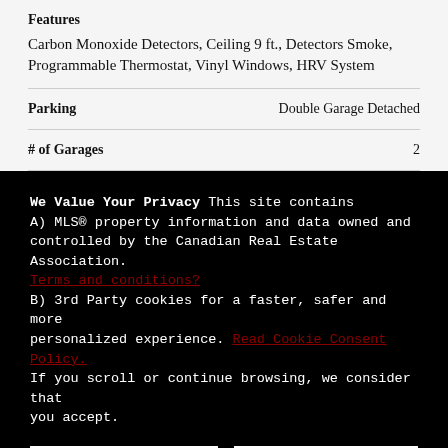| Feature | Value |
| --- | --- |
| Features | Carbon Monoxide Detectors, Ceiling 9 ft., Detectors Smoke, Programmable Thermostat, Vinyl Windows, HRV System |
| Parking | Double Garage Detached |
| # of Garages | 2 |
We Value Your Privacy This site contains A) MLS® property information and data owned and controlled by the Canadian Real Estate Association. Terms and conditions? B) 3rd Party cookies for a faster, safer and more personalized experience. Read Cookie Consent Policy. If you scroll or continue browsing, we consider that you accept.